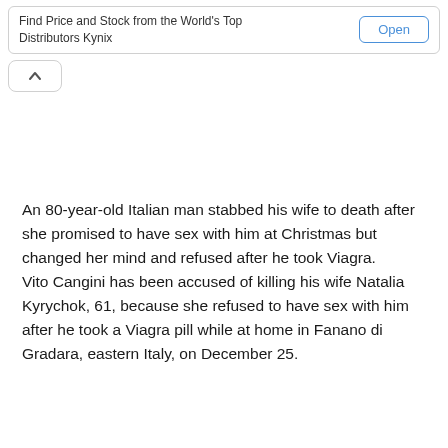[Figure (other): Advertisement banner with text 'Find Price and Stock from the World's Top Distributors Kynix' and an 'Open' button]
[Figure (other): Collapse/chevron-up button]
An 80-year-old Italian man stabbed his wife to death after she promised to have sex with him at Christmas but changed her mind and refused after he took Viagra.
Vito Cangini has been accused of killing his wife Natalia Kyrychok, 61, because she refused to have sex with him after he took a Viagra pill while at home in Fanano di Gradara, eastern Italy, on December 25.